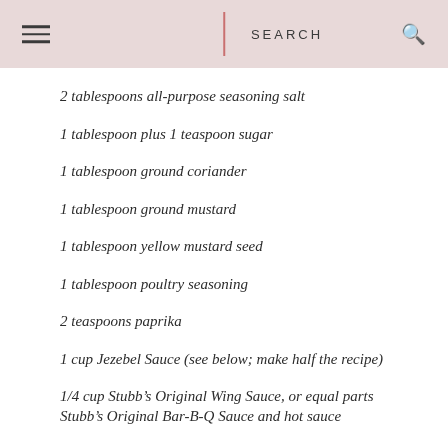SEARCH
2 tablespoons all-purpose seasoning salt
1 tablespoon plus 1 teaspoon sugar
1 tablespoon ground coriander
1 tablespoon ground mustard
1 tablespoon yellow mustard seed
1 tablespoon poultry seasoning
2 teaspoons paprika
1 cup Jezebel Sauce (see below; make half the recipe)
1/4 cup Stubb’s Original Wing Sauce, or equal parts Stubb’s Original Bar-B-Q Sauce and hot sauce